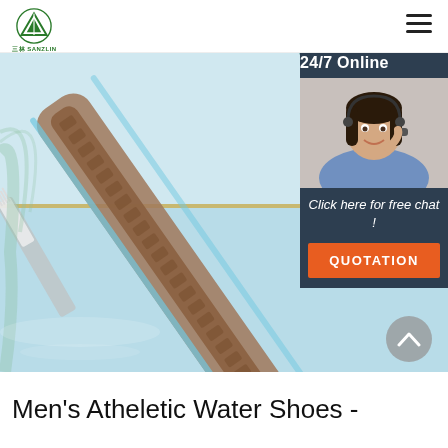[Figure (logo): Green triangular mountain/tent logo with Chinese text and SANZLIN brand name]
[Figure (photo): Product hero image showing close-up of athletic water shoe sole/mesh material with blue background, with a 24/7 online chat widget overlay showing a female customer service agent, a 'Click here for free chat!' message, and an orange QUOTATION button]
Men's Atheletic Water Shoes -